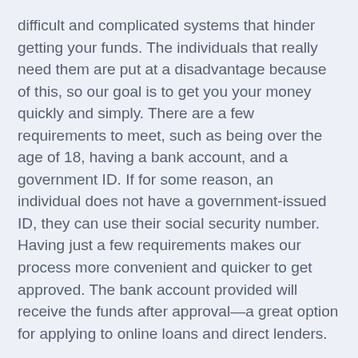difficult and complicated systems that hinder getting your funds. The individuals that really need them are put at a disadvantage because of this, so our goal is to get you your money quickly and simply. There are a few requirements to meet, such as being over the age of 18, having a bank account, and a government ID. If for some reason, an individual does not have a government-issued ID, they can use their social security number. Having just a few requirements makes our process more convenient and quicker to get approved. The bank account provided will receive the funds after approval—a great option for applying to online loans and direct lenders.
[Figure (other): Green 'Apply Now' button]
Applying does NOT affect your credit score! No credit check to apply.